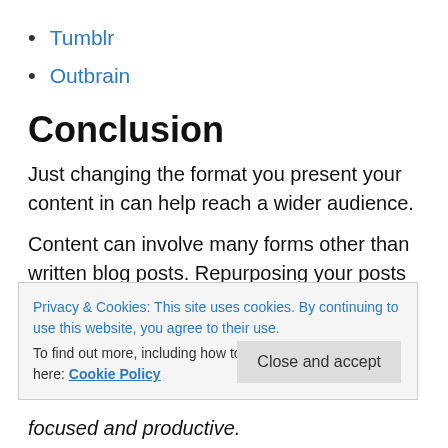Tumblr
Outbrain
Conclusion
Just changing the format you present your content in can help reach a wider audience.
Content can involve many forms other than written blog posts. Repurposing your posts by leveraging different
Privacy & Cookies: This site uses cookies. By continuing to use this website, you agree to their use.
To find out more, including how to control cookies, see here: Cookie Policy
focused and productive.